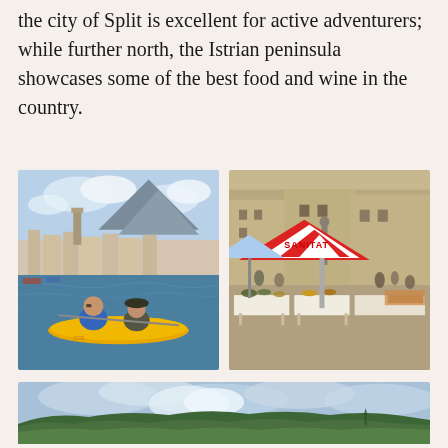the city of Split is excellent for active adventurers; while further north, the Istrian peninsula showcases some of the best food and wine in the country.
[Figure (photo): Two people kayaking on blue water in yellow kayaks with the city of Split and mountains visible in the background.]
[Figure (photo): An outdoor market scene with red and white SANITAT umbrella, vendors and fresh produce on tables, historic stone buildings in background.]
[Figure (photo): Wide landscape view of green forested hills under a partly cloudy blue sky, with a hint of a spire visible in the distance.]